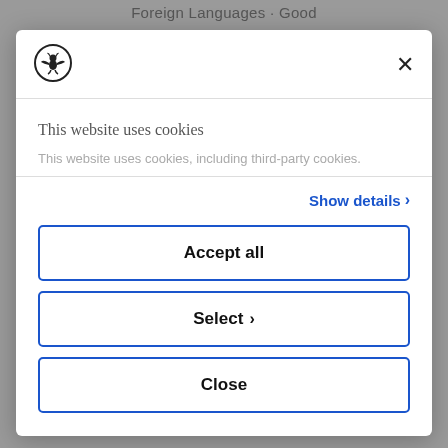Foreign Languages · Good
[Figure (logo): Mephisto brand logo — circular emblem with bat/devil figure]
×
This website uses cookies
This website uses cookies, including third-party cookies.
Show details ›
Accept all
Select ›
Close
Powered by Cookiebot by Usercentrics